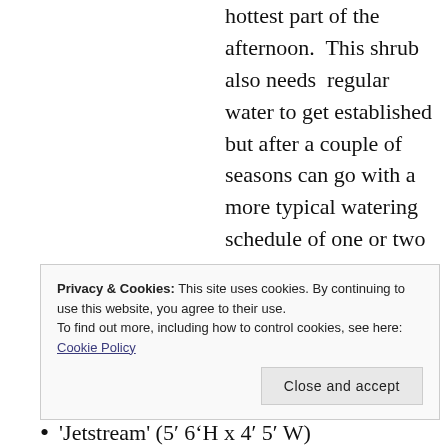hottest part of the afternoon.  This shrub also needs  regular water to get established but after a couple of seasons can go with a more typical watering schedule of one or two deep waterings a week during the hottest part
Privacy & Cookies: This site uses cookies. By continuing to use this website, you agree to their use. To find out more, including how to control cookies, see here: Cookie Policy
'Jetstream' (5′ 6″H x 4′ 5″ W)